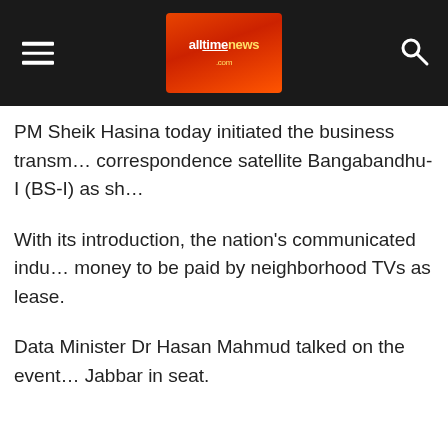alltimenews.com
PM Sheik Hasina today initiated the business transm... correspondence satellite Bangabandhu-I (BS-I) as sh...
With its introduction, the nation's communicated indu... money to be paid by neighborhood TVs as lease.
Data Minister Dr Hasan Mahmud talked on the event... Jabbar in seat.